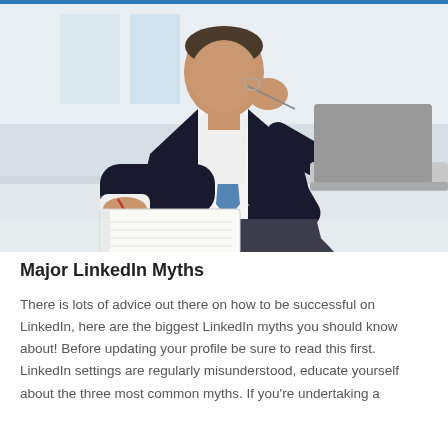[Figure (photo): Professional businessman in dark suit and blue tie sitting at a desk, holding a pen over a notepad, resting his chin on his other hand while appearing to think. A laptop is visible on the right side of the desk. Office environment with light background.]
Major LinkedIn Myths
There is lots of advice out there on how to be successful on LinkedIn, here are the biggest LinkedIn myths you should know about! Before updating your profile be sure to read this first. LinkedIn settings are regularly misunderstood, educate yourself about the three most common myths. If you're undertaking a